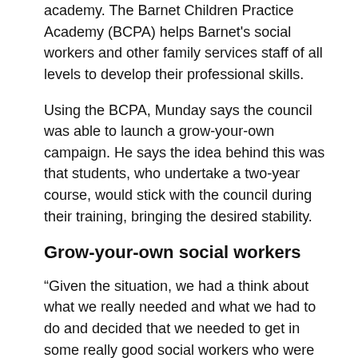academy. The Barnet Children Practice Academy (BCPA) helps Barnet's social workers and other family services staff of all levels to develop their professional skills.
Using the BCPA, Munday says the council was able to launch a grow-your-own campaign. He says the idea behind this was that students, who undertake a two-year course, would stick with the council during their training, bringing the desired stability.
Grow-your-own social workers
“Given the situation, we had a think about what we really needed and what we had to do and decided that we needed to get in some really good social workers who were going to commit to us for a few years and the best way of doing that was by getting in students.
“So, we developed our whole grow-your-own strategy and created a really good assisted year and the social workers who came out of that process were social workers who